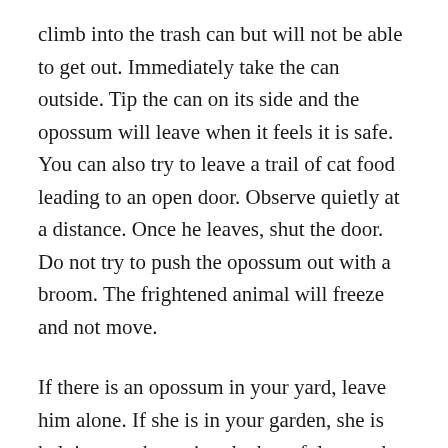climb into the trash can but will not be able to get out. Immediately take the can outside. Tip the can on its side and the opossum will leave when it feels it is safe. You can also try to leave a trail of cat food leading to an open door. Observe quietly at a distance. Once he leaves, shut the door. Do not try to push the opossum out with a broom. The frightened animal will freeze and not move.
If there is an opossum in your yard, leave him alone. If she is in your garden, she is helping you by eating the harmful pests that do damage.
If you find an injured or orphaned opossum, contact the State Department of Environmental Conservation for